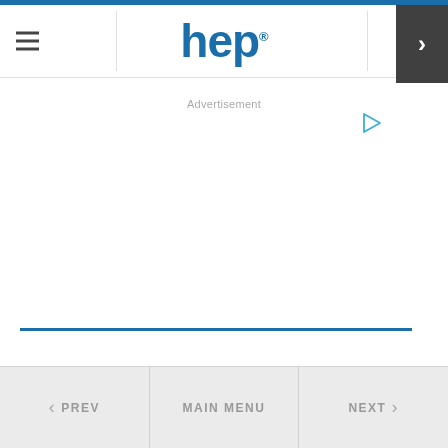hep
Advertisement
< PREV   MAIN MENU   NEXT >